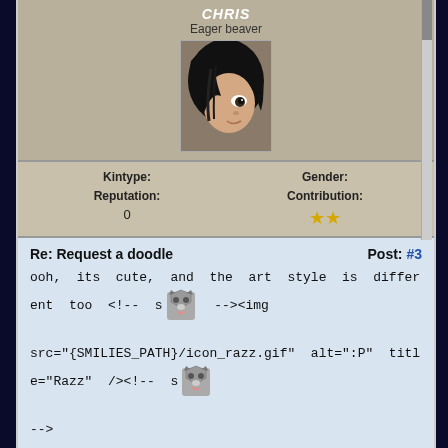Chris
Eager beaver
[Figure (illustration): Forum user avatar: anime-style character with dark hair covering one eye]
| Kintype: | Gender: |
| --- | --- |
| Reputation: | Contribution: |
| 0 | ★★ |
Re: Request a doodle
Post: #3
ooh, its cute, and the art style is different too <!-- s [wolf emoji] --><img

src="{SMILIES_PATH}/icon_razz.gif" alt=":P" title="Razz" /><!-- s [wolf emoji]

-->

*requests*  If  you  don't  mind  <!-- s [wolf emoji] --><img src="

{SMILIES_PATH}/icon_e_smile.gif" alt=":)" title="Smile" /><!-- s [wolf emoji] -

->
2008-01-10 22:32
Find
Quote
Give